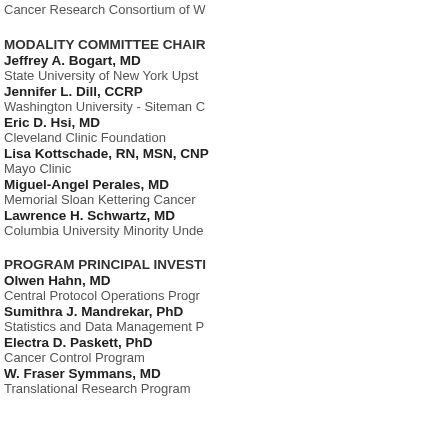Cancer Research Consortium of W
MODALITY COMMITTEE CHAIR
Jeffrey A. Bogart, MD
State University of New York Upst
Jennifer L. Dill, CCRP
Washington University - Siteman C
Eric D. Hsi, MD
Cleveland Clinic Foundation
Lisa Kottschade, RN, MSN, CNP
Mayo Clinic
Miguel-Angel Perales, MD
Memorial Sloan Kettering Cancer
Lawrence H. Schwartz, MD
Columbia University Minority Unde
PROGRAM PRINCIPAL INVESTI
Olwen Hahn, MD
Central Protocol Operations Progr
Sumithra J. Mandrekar, PhD
Statistics and Data Management P
Electra D. Paskett, PhD
Cancer Control Program
W. Fraser Symmans, MD
Translational Research Program